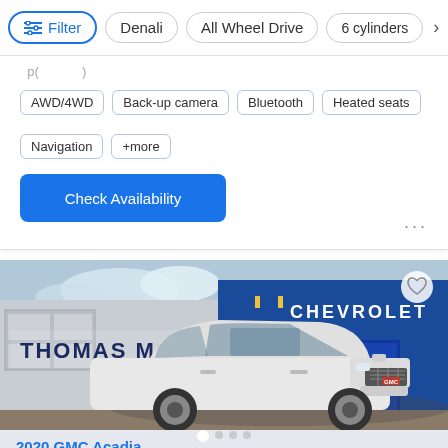Filter | Denali | All Wheel Drive | 6 cylinders
AWD/4WD
Back-up camera
Bluetooth
Heated seats
Navigation
+more
Check Availability
[Figure (photo): White GMC SUV parked in front of Thomas Motors Chevrolet dealership. The dealership has blue and grey facade with Chevrolet logo and signage reading THOMAS MOTORS. A heart/favorite icon is visible in upper right corner. Carousel indicator dots appear at the bottom.]
2020 GMC Acadia